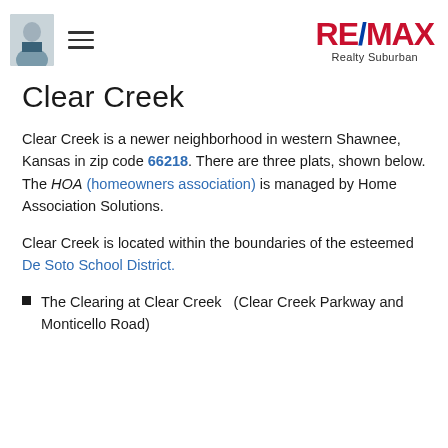RE/MAX Realty Suburban
Clear Creek
Clear Creek is a newer neighborhood in western Shawnee, Kansas in zip code 66218. There are three plats, shown below. The HOA (homeowners association) is managed by Home Association Solutions.
Clear Creek is located within the boundaries of the esteemed De Soto School District.
The Clearing at Clear Creek   (Clear Creek Parkway and Monticello Road)